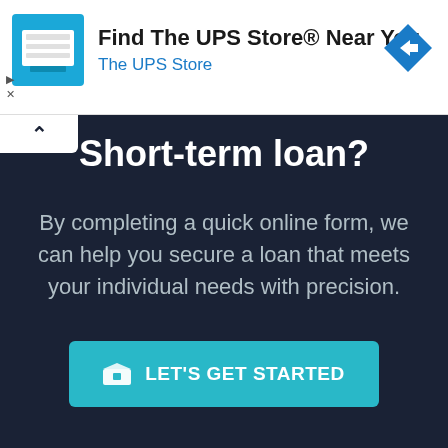[Figure (infographic): UPS Store advertisement banner with store icon, text 'Find The UPS Store® Near You / The UPS Store', blue navigation arrow icon, and ad controls (play and close buttons)]
Short-term loan?
By completing a quick online form, we can help you secure a loan that meets your individual needs with precision.
LET'S GET STARTED